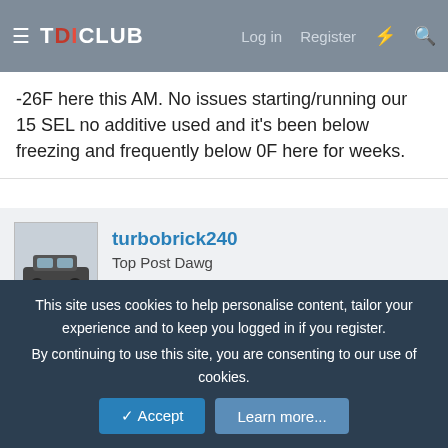TDICLUB — Log in  Register
-26F here this AM. No issues starting/running our 15 SEL no additive used and it's been below freezing and frequently below 0F here for weeks.
turbobrick240
Top Post Dawg
Jan 7, 2018  #24
Skimax said:
-26F here this AM. No issues starting/running our 15 SEL no additive used and it's been below freezing and frequently below 0F here for weeks.
This site uses cookies to help personalise content, tailor your experience and to keep you logged in if you register.
By continuing to use this site, you are consenting to our use of cookies.